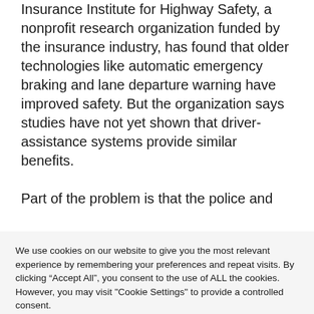Insurance Institute for Highway Safety, a nonprofit research organization funded by the insurance industry, has found that older technologies like automatic emergency braking and lane departure warning have improved safety. But the organization says studies have not yet shown that driver-assistance systems provide similar benefits.
Part of the problem is that the police and
We use cookies on our website to give you the most relevant experience by remembering your preferences and repeat visits. By clicking “Accept All”, you consent to the use of ALL the cookies. However, you may visit "Cookie Settings" to provide a controlled consent.